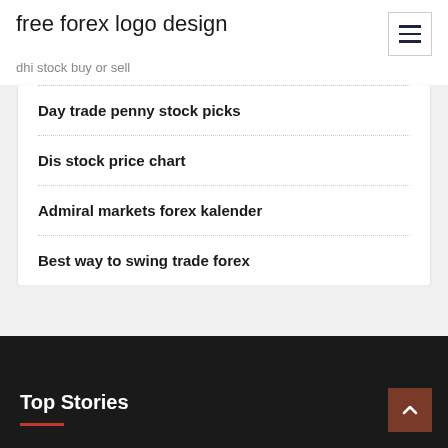free forex logo design
dhi stock buy or sell
Day trade penny stock picks
Dis stock price chart
Admiral markets forex kalender
Best way to swing trade forex
Top Stories